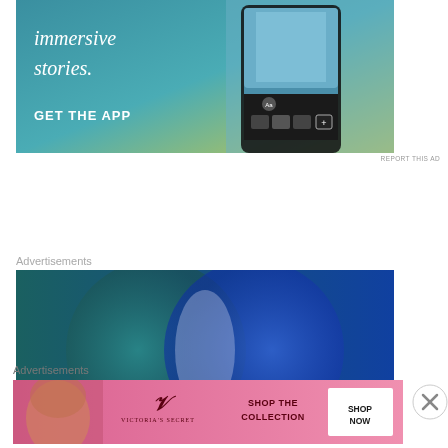[Figure (advertisement): App advertisement with blue-to-yellow gradient background, text 'Create immersive stories.' and 'GET THE APP' with a smartphone showing a waterfall photo]
REPORT THIS AD
Advertisements
[Figure (advertisement): Advertisement with teal and blue circles on dark blue background, text 'Everything' and 'Anything' at bottom]
Advertisements
[Figure (advertisement): Victoria's Secret advertisement with pink background, model with curly hair, Victoria's Secret logo, text 'SHOP THE COLLECTION' and 'SHOP NOW' button]